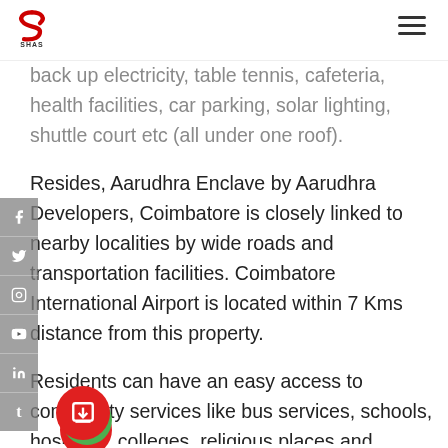SHAS logo and navigation menu
back up electricity, table tennis, cafeteria, health facilities, car parking, solar lighting, shuttle court etc (all under one roof).
Resides, Aarudhra Enclave by Aarudhra Developers, Coimbatore is closely linked to nearby localities by wide roads and transportation facilities. Coimbatore International Airport is located within 7 Kms distance from this property.
Residents can have an easy access to community services like bus services, schools, hospitals, colleges, religious places and recreational areas, IT parks (Wipro, Dell, Cognizant) etc.